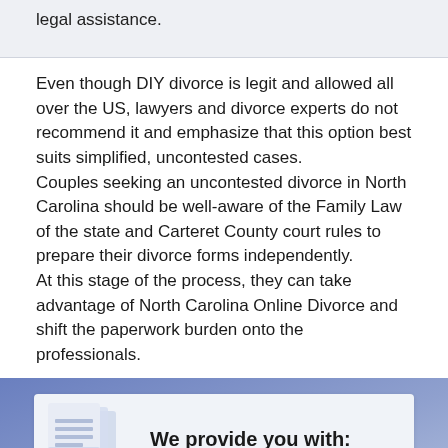legal assistance.
Even though DIY divorce is legit and allowed all over the US, lawyers and divorce experts do not recommend it and emphasize that this option best suits simplified, uncontested cases.
Couples seeking an uncontested divorce in North Carolina should be well-aware of the Family Law of the state and Carteret County court rules to prepare their divorce forms independently.
At this stage of the process, they can take advantage of North Carolina Online Divorce and shift the paperwork burden onto the professionals.
[Figure (illustration): A white card on a blue/purple gradient background. On the left side of the card is a stylized document/paper icon in light blue-grey. On the right is bold text reading 'We provide you with:']